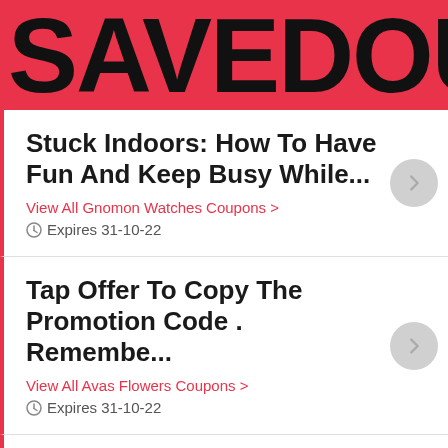SAVEDOUB
Stuck Indoors: How To Have Fun And Keep Busy While...
View All Gnomon Watches Coupons >
Expires 31-10-22
Tap Offer To Copy The Promotion Code . Remembe...
View All Avas Flowers Coupons >
Expires 31-10-22
Stuart Weitzman: Additional 25% OFF * Select Lines. Sho